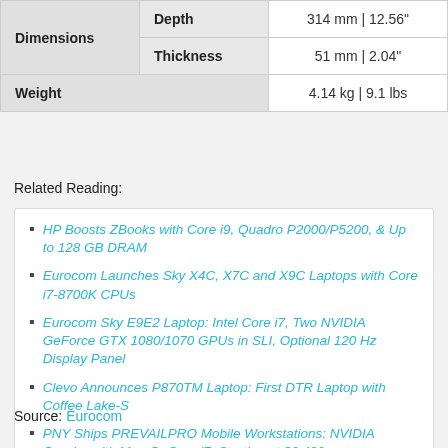|  |  |  |
| --- | --- | --- |
| Dimensions | Depth | 314 mm | 12.56" |
|  | Thickness | 51 mm | 2.04" |
| Weight |  | 4.14 kg | 9.1 lbs |
Related Reading:
HP Boosts ZBooks with Core i9, Quadro P2000/P5200, & Up to 128 GB DRAM
Eurocom Launches Sky X4C, X7C and X9C Laptops with Core i7-8700K CPUs
Eurocom Sky E9E2 Laptop: Intel Core i7, Two NVIDIA GeForce GTX 1080/1070 GPUs in SLI, Optional 120 Hz Display Panel
Clevo Announces P870TM Laptop: First DTR Laptop with Coffee Lake-S
PNY Ships PREVAILPRO Mobile Workstations: NVIDIA Quadro with Max-Q, Core i7, Starting at $2,499
Source: Eurocom